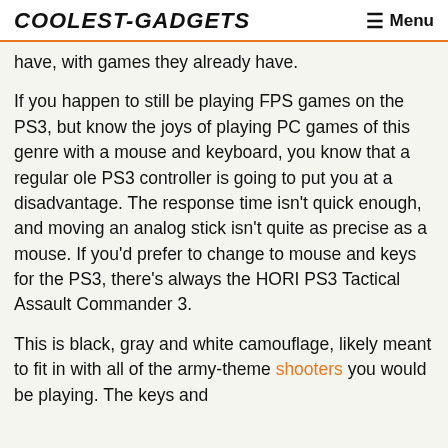COOLEST-GADGETS  ☰ Menu
have, with games they already have.
If you happen to still be playing FPS games on the PS3, but know the joys of playing PC games of this genre with a mouse and keyboard, you know that a regular ole PS3 controller is going to put you at a disadvantage. The response time isn't quick enough, and moving an analog stick isn't quite as precise as a mouse. If you'd prefer to change to mouse and keys for the PS3, there's always the HORI PS3 Tactical Assault Commander 3.
This is black, gray and white camouflage, likely meant to fit in with all of the army-theme shooters you would be playing. The keys and